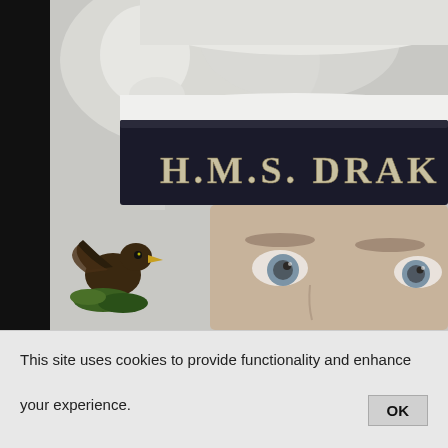[Figure (photo): Close-up selfie of a young man wearing a Royal Navy sailor hat with 'H.M.S. DRAKE' written on the hat band in gold/cream lettering. A heraldic bird/eagle emblem is visible on the left side of the image. The background is light/overcast sky. The left edge of the image has a black sidebar and there is a small teal accent in the top right corner.]
This site uses cookies to provide functionality and enhance your experience.
OK